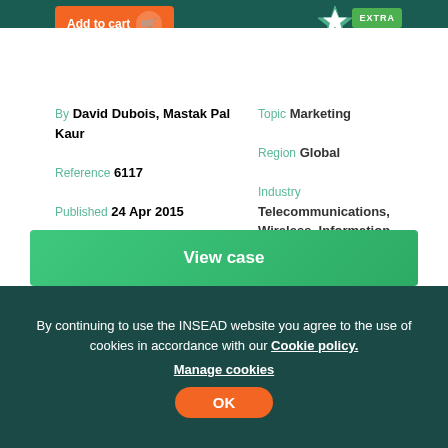Add to cart
By David Dubois, Mastak Pal Kaur
Reference 6117
Published 24 Apr 2015
Topic Marketing
Region Global
Industry Telecommunications, Wireless, Information Technology and Services
The case illustrates an innovative integrated marketing campaign by Nokia to promote its new phone, the N8. In early January 2010, Stuart Wells, Integrated Global Campaign Lead at Nokia, initiated and supervised the execution of an ambitious integrated marketing campaign.
View case
By continuing to use the INSEAD website you agree to the use of cookies in accordance with our Cookie policy.
Manage cookies
OK